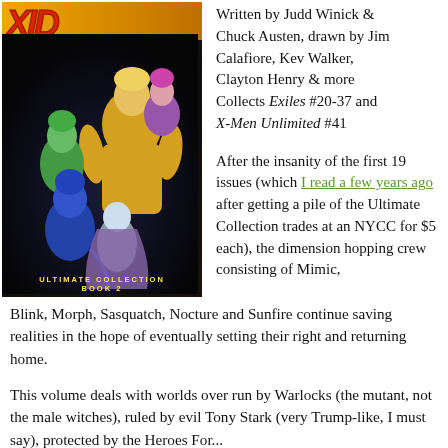[Figure (illustration): Comic book cover: Exiles Ultimate Collection Book 2, showing superhero characters on a dark background with yellow/orange logo at top and 'ULTIMATE COLLECTION BOOK 2' text at bottom]
Written by Judd Winick & Chuck Austen, drawn by Jim Calafiore, Kev Walker, Clayton Henry & more Collects Exiles #20-37 and X-Men Unlimited #41
After the insanity of the first 19 issues (which I read a few years ago after getting a pile of the Ultimate Collection trades at an NYCC for $5 each), the dimension hopping crew consisting of Mimic, Blink, Morph, Sasquatch, Nocture and Sunfire continue saving realities in the hope of eventually setting their right and returning home.
This volume deals with worlds over run by Warlocks (the mutant, not the male witches), ruled by evil Tony Stark (very Trump-like, I must say), protected by the Heroes For...